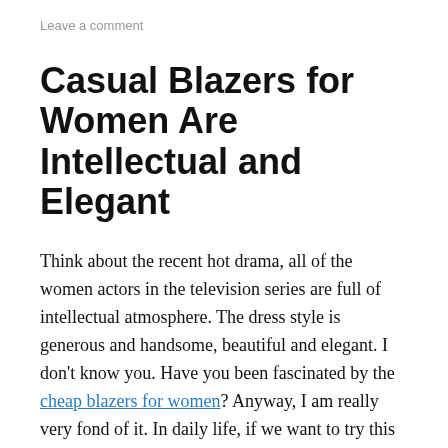Leave a comment
Casual Blazers for Women Are Intellectual and Elegant
Think about the recent hot drama, all of the women actors in the television series are full of intellectual atmosphere. The dress style is generous and handsome, beautiful and elegant. I don't know you. Have you been fascinated by the cheap blazers for women? Anyway, I am really very fond of it. In daily life, if we want to try this kind of casual blazers for women, we can actually be a bit more casual.